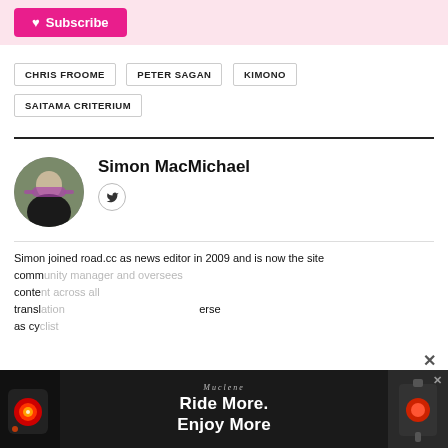[Figure (other): Pink subscribe bar with a heart Subscribe button]
CHRIS FROOME
PETER SAGAN
KIMONO
SAITAMA CRITERIUM
[Figure (photo): Circular profile photo of Simon MacMichael holding a bicycle]
Simon MacMichael
Simon joined road.cc as news editor in 2009 and is now the site comm... conte... transl... erse as cyc...
[Figure (other): Advertisement banner: Ride More. Enjoy More. with red bike light image]